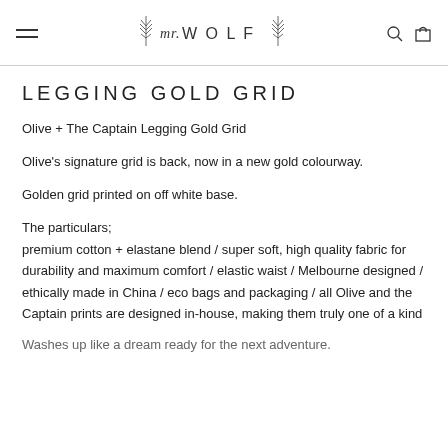mr. WOLF
LEGGING GOLD GRID
Olive + The Captain Legging Gold Grid
Olive's signature grid is back, now in a new gold colourway.
Golden grid printed on off white base.
The particulars;
premium cotton + elastane blend / super soft, high quality fabric for durability and maximum comfort / elastic waist / Melbourne designed / ethically made in China / eco bags and packaging / all Olive and the Captain prints are designed in-house, making them truly one of a kind
Washes up like a dream ready for the next adventure.